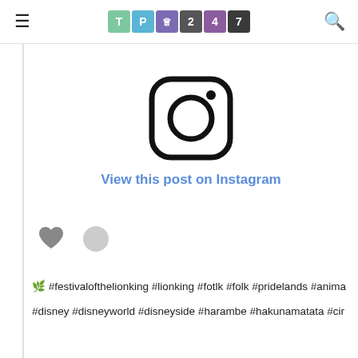TP247 (logo) — hamburger menu and search icon
[Figure (logo): Instagram camera icon with 'View this post on Instagram' link below]
🌿 #festivalofthelionking #lionking #fotlk #folk #pridelands #anima…
#disney #disneyworld #disneyside #harambe #hakunamatata #cir…